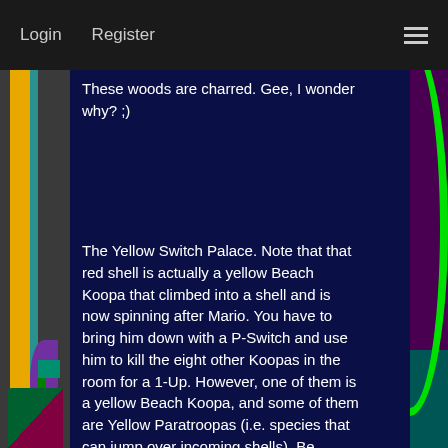Login   Register
These woods are charred. Gee, I wonder why? ;)
The Yellow Switch Palace. Note that that red shell is actually a yellow Beach Koopa that climbed into a shell and is now spinning after Mario. You have to bring him down with a P-Switch and use him to kill the eight other Koopas in the room for a 1-Up. However, one of them is a yellow Beach Koopa, and some of them are Yellow Paratroopas (i.e. species that can jump over incoming shells). Be careful!
There's the goal...but how will you get to it? D: